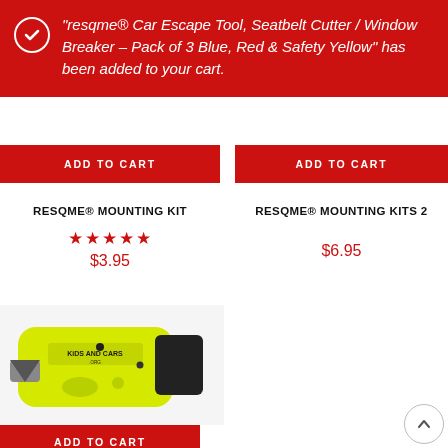“resqme® Car Escape Tool, Seatbelt Cutter / Window Breaker – Pack of 3 Blue, Red & Safety Yellow” has been added to your cart.
ADD TO CART
ADD TO CART
RESQME® MOUNTING KIT
RESQME® MOUNTING KITS 2
★★★★★
$3.95
$6.95
[Figure (photo): Yellow resqme car escape tool with KIDS AND CARS.org branding, showing seatbelt cutter and window breaker components]
ADD TO CART